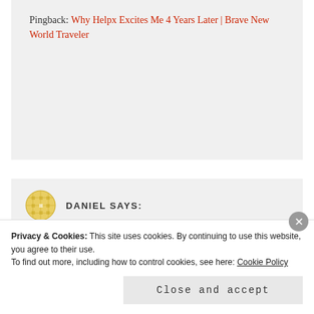Pingback: Why Helpx Excites Me 4 Years Later | Brave New World Traveler
DANIEL SAYS:
January 6, 2017 at 10:23 am
Oops, looks like others had too that unresponsiveness from Workaway hosts.
Privacy & Cookies: This site uses cookies. By continuing to use this website, you agree to their use. To find out more, including how to control cookies, see here: Cookie Policy
Close and accept